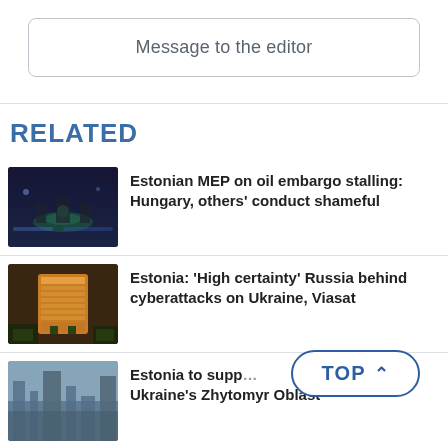Message to the editor
RELATED
Estonian MEP on oil embargo stalling: Hungary, others' conduct shameful
Estonia: 'High certainty' Russia behind cyberattacks on Ukraine, Viasat
Estonia to supp Ukraine's Zhytomyr Oblast